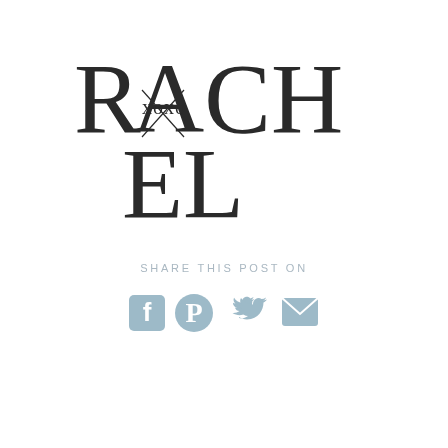[Figure (logo): RACHEL logo with XOXO decorative overlay on the letters, displayed in large serif typography across two lines: 'RACH' on first line and 'EL' on second line]
SHARE THIS POST ON
[Figure (infographic): Four social media sharing icons in muted blue-grey color: Facebook, Pinterest, Twitter, and Email/envelope icons]